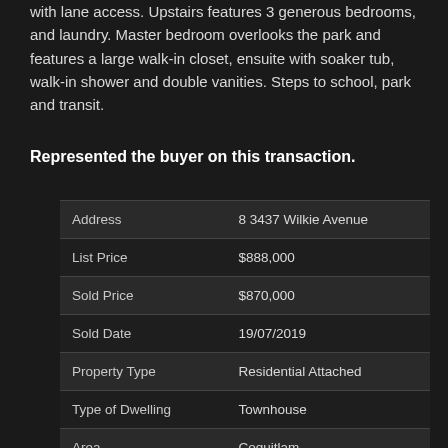with lane access. Upstairs features 3 generous bedrooms, and laundry. Master bedroom overlooks the park and features a large walk-in closet, ensuite with soaker tub, walk-in shower and double vanities. Steps to school, park and transit.
Represented the buyer on this transaction.
|  |  |
| --- | --- |
| Address | 8 3437 Wilkie Avenue |
| List Price | $888,000 |
| Sold Price | $870,000 |
| Sold Date | 19/07/2019 |
| Property Type | Residential Attached |
| Type of Dwelling | Townhouse |
| Area | Coquitlam |